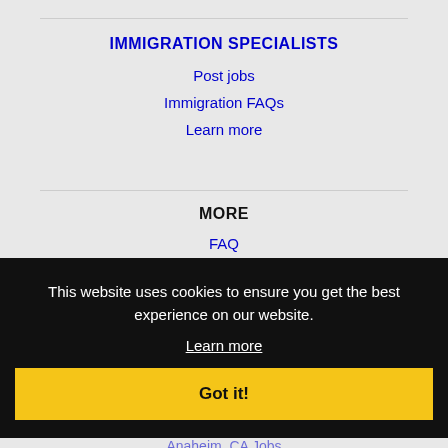IMMIGRATION SPECIALISTS
Post jobs
Immigration FAQs
Learn more
MORE
FAQ
Contact us
Sitemap
About
Submit it
This website uses cookies to ensure you get the best experience on our website.
Learn more
Got it!
NEARBY CITIES
Aliso Viejo, CA Jobs
Anaheim, CA Jobs